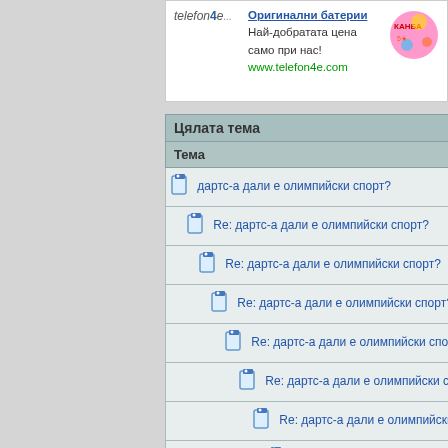[Figure (screenshot): Advertisement banner for telefon4e.com showing logo, text about original batteries at best price, and website link]
| Цялата тема |
| --- |
| Тема |
| дартс-а дали е олимпийски спорт? |
| Re: дартс-а дали е олимпийски спорт? |
| Re: дартс-а дали е олимпийски спорт? |
| Re: дартс-а дали е олимпийски спорт? |
| Re: дартс-а дали е олимпийски спорт? |
| Re: дартс-а дали е олимпийски спорт? |
| Re: дартс-а дали е олимпийски спорт? |
| Re: дартс-а дали е олимпийски спорт? |
| Re: дартс-а дали е олимпийски спорт? |